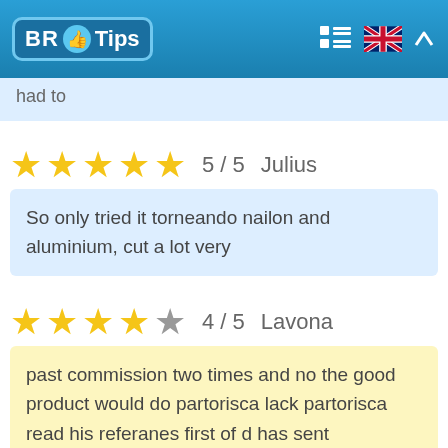BR Tips
had to
5 / 5   Julius
So only tried it torneando nailon and aluminium, cut a lot very
4 / 5   Lavona
past commission two times and no the good product would do partorisca lack partorisca read his referanes first of d has sent